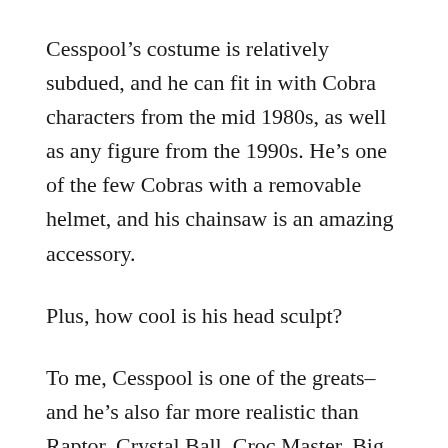Cesspool’s costume is relatively subdued, and he can fit in with Cobra characters from the mid 1980s, as well as any figure from the 1990s. He’s one of the few Cobras with a removable helmet, and his chainsaw is an amazing accessory.
Plus, how cool is his head sculpt?
To me, Cesspool is one of the greats– and he’s also far more realistic than Raptor, Crystal Ball, Croc Master, Big Boa, or even Zartan. If you care about that sort of thing. I normally don’t, but it’s a point in Cesspool’s favor.